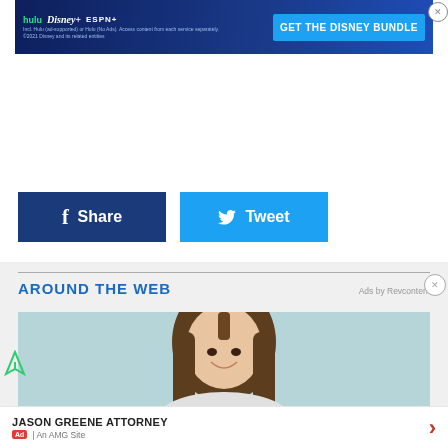[Figure (other): Disney Bundle advertisement banner with Hulu, Disney+, ESPN+ logos and 'GET THE DISNEY BUNDLE' call to action button]
[Figure (other): Facebook Share button (dark blue) and Twitter Tweet button (light blue)]
AROUND THE WEB
Ads by Revcontent
[Figure (photo): Young woman with long brown hair smiling, light blue background]
JASON GREENE ATTORNEY
Ad | An AMG Site